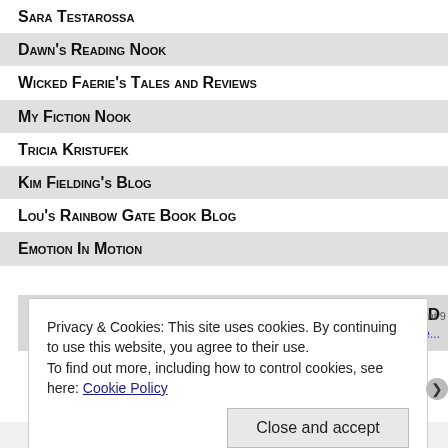Sara Testarossa
Dawn's Reading Nook
Wicked Faerie's Tales and Reviews
My Fiction Nook
Tricia Kristufek
Kim Fielding's Blog
Lou's Rainbow Gate Book Blog
Emotion In Motion
© Grace R. D
http://www.grace-duncan.com/hope-rerele...
Privacy & Cookies: This site uses cookies. By continuing to use this website, you agree to their use.
To find out more, including how to control cookies, see here: Cookie Policy
Close and accept